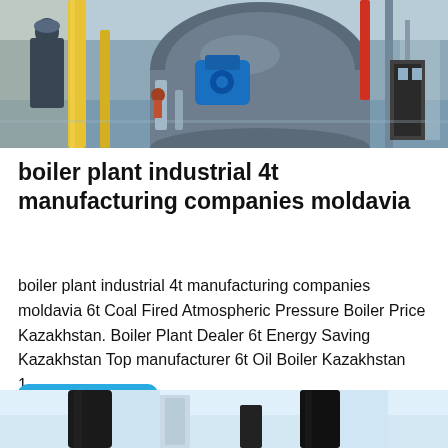[Figure (photo): Industrial boiler plant interior showing large cylindrical boilers, yellow and red pipes, a technician in work uniform, blue motor units, and industrial equipment in a factory hall.]
boiler plant industrial 4t manufacturing companies moldavia
boiler plant industrial 4t manufacturing companies moldavia 6t Coal Fired Atmospheric Pressure Boiler Price Kazakhstan. Boiler Plant Dealer 6t Energy Saving Kazakhstan Top manufacturer 6t Oil Boiler Kazakhstan 1...
[Figure (photo): Partial view of industrial boiler stacks or columns against a light blue sky background, showing dark vertical cylindrical units.]